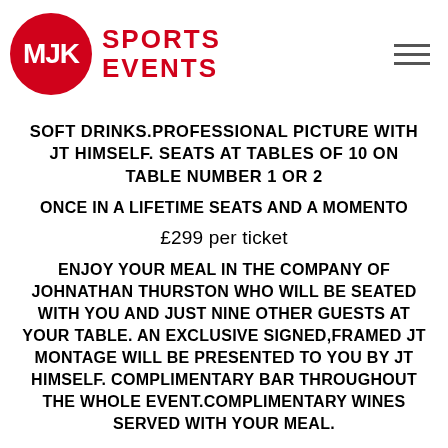[Figure (logo): MJK Sports Events logo: red circle with MJK text in white, and red SPORTS EVENTS text to the right. Hamburger menu icon on the far right.]
SOFT DRINKS.PROFESSIONAL PICTURE WITH JT HIMSELF. SEATS AT TABLES OF 10 ON TABLE NUMBER 1 OR 2
ONCE IN A LIFETIME SEATS AND A MOMENTO
£299 per ticket
ENJOY YOUR MEAL IN THE COMPANY OF JOHNATHAN THURSTON WHO WILL BE SEATED WITH YOU AND JUST NINE OTHER GUESTS AT YOUR TABLE. AN EXCLUSIVE SIGNED,FRAMED JT MONTAGE WILL BE PRESENTED TO YOU BY JT HIMSELF. COMPLIMENTARY BAR THROUGHOUT THE WHOLE EVENT.COMPLIMENTARY WINES SERVED WITH YOUR MEAL.